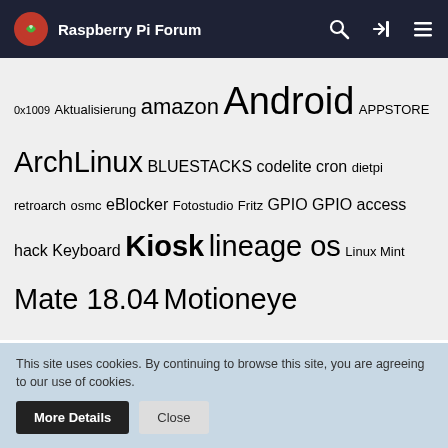Raspberry Pi Forum
0x1009 Aktualisierung amazon Android APPSTORE ArchLinux BLUESTACKS codelite cron dietpi retroarch osmc eBlocker Fotostudio Fritz GPIO GPIO access hack Keyboard Kiosk lineage os Linux Mint Mate 18.04 Motioneye Motioneyeos noobs NOX Open-Source OpenWRT pi 3a+ Pi 4 pi4 Pi400 PLAY STORE plugin profi Raspberry Raspberry 4 raspberry pi Raspberry Pi 4 recalbox Regie Retropie RP4 Sound Linux Ubuntu raspberrypi Studioanwendung Terminal Ubuntu Mate Videoschnitt Win 10 Windows WLAN
This site uses cookies. By continuing to browse this site, you are agreeing to our use of cookies.
More Details   Close